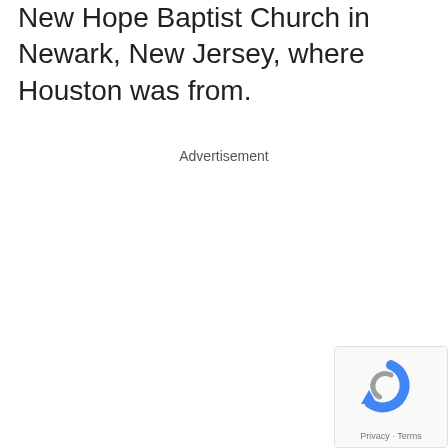New Hope Baptist Church in Newark, New Jersey, where Houston was from.
Advertisement
[Figure (other): reCAPTCHA widget showing a circular arrow icon with 'Privacy · Terms' text below, partially visible in the bottom-right corner]